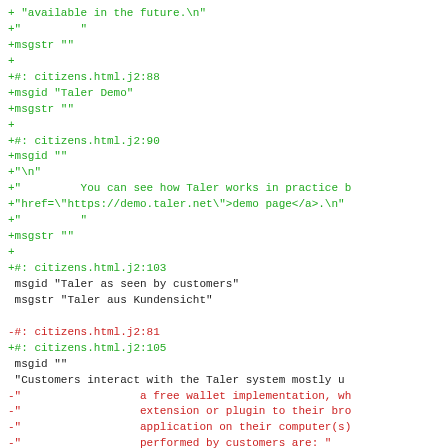Code diff showing localization file changes for citizens.html.j2, including msgid/msgstr entries for Taler Demo, Taler as seen by customers, and wallet implementation strings